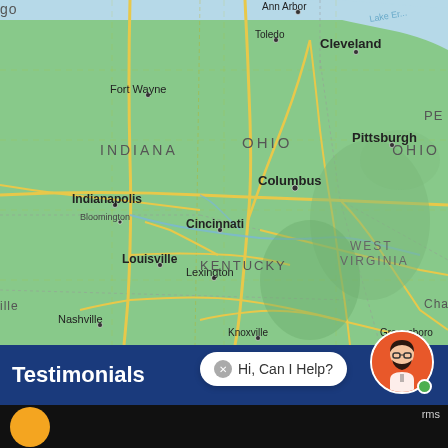[Figure (map): Google Maps screenshot showing the Midwest and Eastern US region including states Indiana, Ohio, Kentucky, West Virginia, Virginia, and parts of Pennsylvania and Tennessee. Cities labeled include Ann Arbor, Toledo, Cleveland, Fort Wayne, Pittsburgh, Indianapolis, Bloomington, Columbus, Cincinnati, Louisville, Lexington, Nashville, Knoxville, Greensboro, and partial labels for Chicago (go), Charlotte (Charl), Virginia (VIRGI), and Pennsylvania (PE).]
Testimonials
Hi, Can I Help?